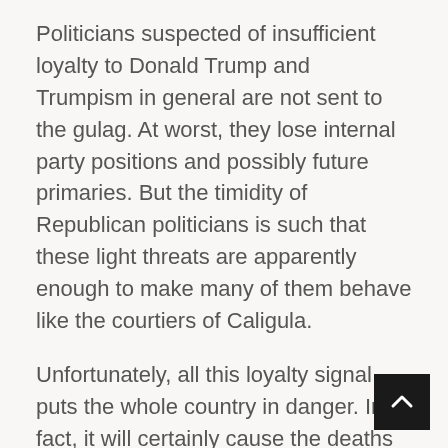Politicians suspected of insufficient loyalty to Donald Trump and Trumpism in general are not sent to the gulag. At worst, they lose internal party positions and possibly future primaries. But the timidity of Republican politicians is such that these light threats are apparently enough to make many of them behave like the courtiers of Caligula.
Unfortunately, all this loyalty signal puts the whole country in danger. In fact, it will certainly cause the deaths of a large number of Americans in the coming months.
The stopping of the initially successful US vaccination campaign was not entirely caused by partisanship – some people, especially members of minorities, chose not to be vaccinated for reasons that have little to do